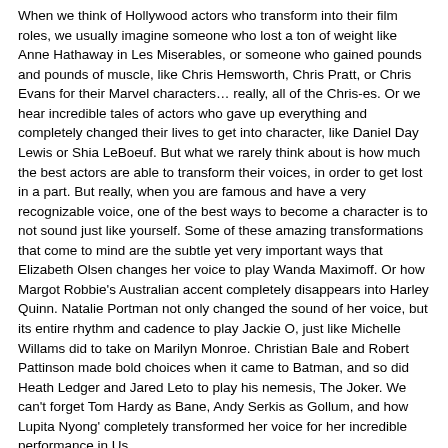When we think of Hollywood actors who transform into their film roles, we usually imagine someone who lost a ton of weight like Anne Hathaway in Les Miserables, or someone who gained pounds and pounds of muscle, like Chris Hemsworth, Chris Pratt, or Chris Evans for their Marvel characters… really, all of the Chris-es. Or we hear incredible tales of actors who gave up everything and completely changed their lives to get into character, like Daniel Day Lewis or Shia LeBoeuf. But what we rarely think about is how much the best actors are able to transform their voices, in order to get lost in a part. But really, when you are famous and have a very recognizable voice, one of the best ways to become a character is to not sound just like yourself. Some of these amazing transformations that come to mind are the subtle yet very important ways that Elizabeth Olsen changes her voice to play Wanda Maximoff. Or how Margot Robbie's Australian accent completely disappears into Harley Quinn. Natalie Portman not only changed the sound of her voice, but its entire rhythm and cadence to play Jackie O, just like Michelle Willams did to take on Marilyn Monroe. Christian Bale and Robert Pattinson made bold choices when it came to Batman, and so did Heath Ledger and Jared Leto to play his nemesis, The Joker. We can't forget Tom Hardy as Bane, Andy Serkis as Gollum, and how Lupita Nyong' completely transformed her voice for her incredible performance in Us.
Our Social Media:
Facebook: www.facebook.com/TheThingscom/
For more videos and articles visit:
www.thethings.com/
Written by: Emelia Hellman